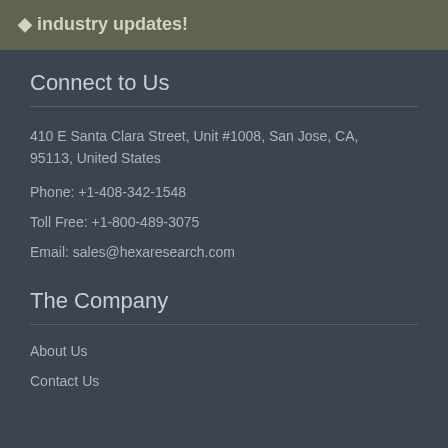industry updates!
Connect to Us
410 E Santa Clara Street, Unit #1008, San Jose, CA, 95113, United States
Phone: +1-408-342-1548
Toll Free: +1-800-489-3075
Email: sales@hexaresearch.com
The Company
About Us
Contact Us